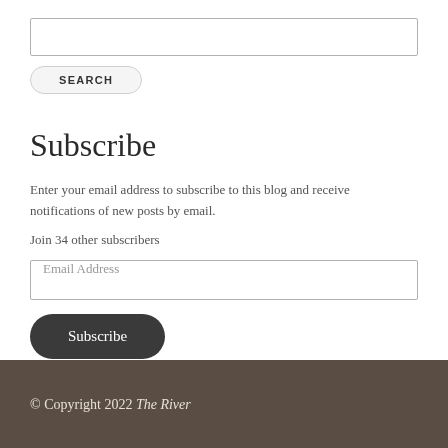[Figure (other): Search input text box, empty]
[Figure (other): Search button with rounded rectangle styling, label SEARCH]
Subscribe
Enter your email address to subscribe to this blog and receive notifications of new posts by email.
Join 34 other subscribers
[Figure (other): Email Address input field]
[Figure (other): Subscribe button, dark rounded pill shape]
© Copyright 2022 The River